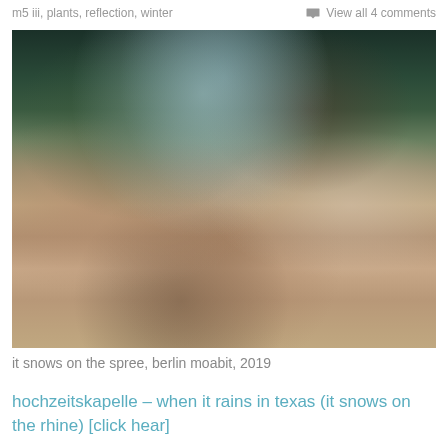m5 iii, plants, reflection, winter    View all 4 comments
[Figure (photo): Outdoor garden or riverbank scene with flowering plants in the foreground, bare branching trees and a misty water reflection in the background, Berlin Moabit, 2019]
it snows on the spree, berlin moabit, 2019
hochzeitskapelle – when it rains in texas (it snows on the rhine) [click hear]